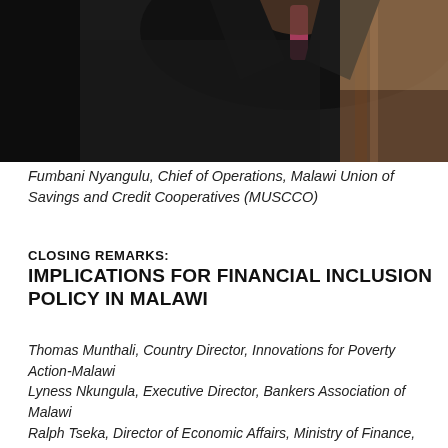[Figure (photo): Photo of Fumbani Nyangulu, Chief of Operations, Malawi Union of Savings and Credit Cooperatives (MUSCCO), man in dark suit with pink tie at a podium, with a wooden lectern visible at right]
Fumbani Nyangulu, Chief of Operations, Malawi Union of Savings and Credit Cooperatives (MUSCCO)
CLOSING REMARKS:
IMPLICATIONS FOR FINANCIAL INCLUSION POLICY IN MALAWI
Thomas Munthali, Country Director, Innovations for Poverty Action-Malawi
Lyness Nkungula, Executive Director, Bankers Association of Malawi
Ralph Tseka, Director of Economic Affairs, Ministry of Finance, Economic Planning and Development